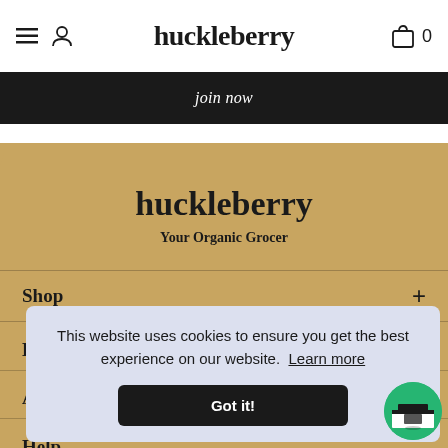huckleberry (logo, nav icons, cart icon with 0)
join now
huckleberry
Your Organic Grocer
Shop
E...
A...
Help
This website uses cookies to ensure you get the best experience on our website. Learn more
Got it!
[Figure (photo): Store exterior photo in circular green badge at bottom right]